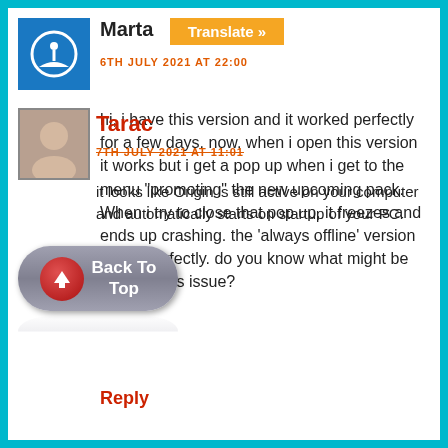Marta
Translate »
6TH JULY 2021 AT 22:00
hi, i have this version and it worked perfectly for a few days. now, when i open this version it works but i get a pop up when i get to the menu "promoting" the new upcoming pack. When i try to close that pop up, it freezes and ends up crashing. the 'always offline' version works perfectly. do you know what might be causing this issue?
Reply
Tarac
7TH JULY 2021 AT 11:01
it looks like Origin is still active on your computer and automatically starts on startup of your PC.
[Figure (other): Back To Top button with upward arrow icon]